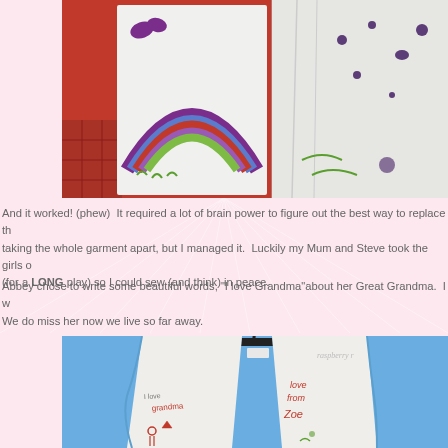[Figure (photo): Top portion showing children's artwork on white fabric/paper with a rainbow drawn in purple, blue, red and green colors, against a red background on the left and white/gray background on the right with purple dot marks]
And it worked! (phew)  It required a lot of brain power to figure out the best way to replace the taking the whole garment apart, but I managed it.  Luckily my Mum and Steve took the girls o (for a LONG play) so I could sew (and think) in peace.
Abbey chose to write some beautiful words, "I love Grandma"about her Great Grandma.  I w We do miss her now we live so far away.
[Figure (photo): Blue fleece jacket/hoodie hanging on a black hanger, open to reveal white lining with children's handwritten text and drawings including 'I love Grandma', 'love from Zoe' in pink/red ink, with watermark text 'raspberry' in top right]